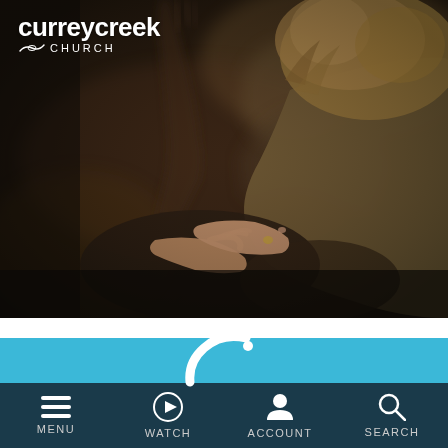[Figure (photo): People praying in a church, woman in foreground with hands resting on knees, another person raising hand in worship in background. Warm, dimly lit atmosphere.]
[Figure (logo): Currey Creek Church logo - white text with wave emblem and CHURCH lettering below]
[Figure (logo): Currey Creek Church app icon - white C-shaped arc with dot on teal/blue background bar]
MENU   WATCH   ACCOUNT   SEARCH